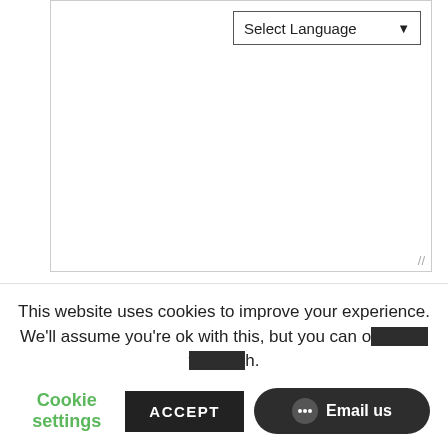[Figure (screenshot): A textarea input box with a 'Select Language' dropdown in the top-right corner and a resize handle at the bottom-right.]
I have read and accept the terms and conditions of use, as well as the privacy policy according to my advertising preferences listed here (where I can unsubscribe from everything I do not want to receive) and the cookies policy.
I accept to receive commercial information, offers...
This website uses cookies to improve your experience. We'll assume you're ok with this, but you can opt-out if you wish.
Cookie settings
ACCEPT
Email us